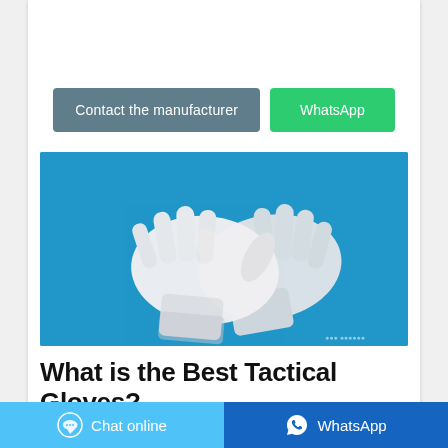Contact the manufacturer | WhatsApp
[Figure (photo): Two white latex/disposable gloves laid flat on a bright blue background, photographed from above.]
What is the Best Tactical Gloves?
Chat online | WhatsApp